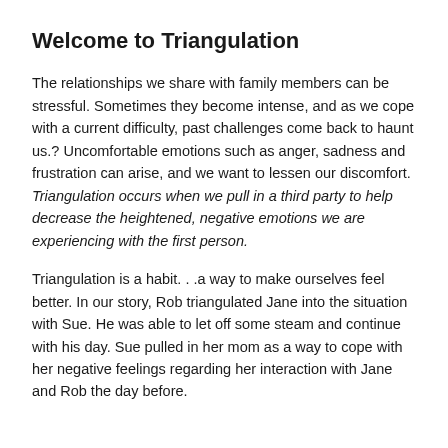Welcome to Triangulation
The relationships we share with family members can be stressful. Sometimes they become intense, and as we cope with a current difficulty, past challenges come back to haunt us.? Uncomfortable emotions such as anger, sadness and frustration can arise, and we want to lessen our discomfort. Triangulation occurs when we pull in a third party to help decrease the heightened, negative emotions we are experiencing with the first person.
Triangulation is a habit. . .a way to make ourselves feel better. In our story, Rob triangulated Jane into the situation with Sue. He was able to let off some steam and continue with his day. Sue pulled in her mom as a way to cope with her negative feelings regarding her interaction with Jane and Rob the day before.